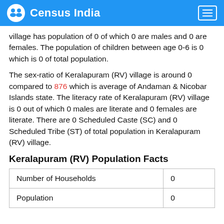Census India
village has population of 0 of which 0 are males and 0 are females. The population of children between age 0-6 is 0 which is 0 of total population.
The sex-ratio of Keralapuram (RV) village is around 0 compared to 876 which is average of Andaman & Nicobar Islands state. The literacy rate of Keralapuram (RV) village is 0 out of which 0 males are literate and 0 females are literate. There are 0 Scheduled Caste (SC) and 0 Scheduled Tribe (ST) of total population in Keralapuram (RV) village.
Keralapuram (RV) Population Facts
|  |  |
| --- | --- |
| Number of Households | 0 |
| Population | 0 |